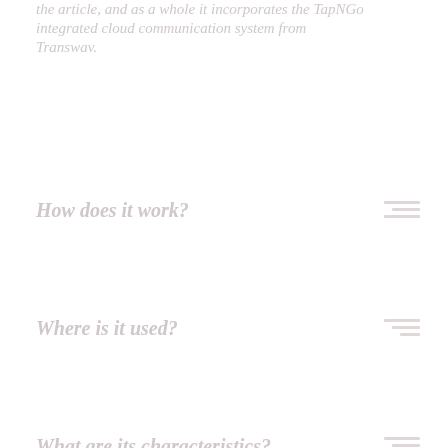the article, and as a whole it incorporates the TapNGo integrated cloud communication system from Transwav.
How does it work?
Where is it used?
What are its characteristics?
What are the benefits?
What are the add-ons and options?
How is it unique?
Terminology
For more info...